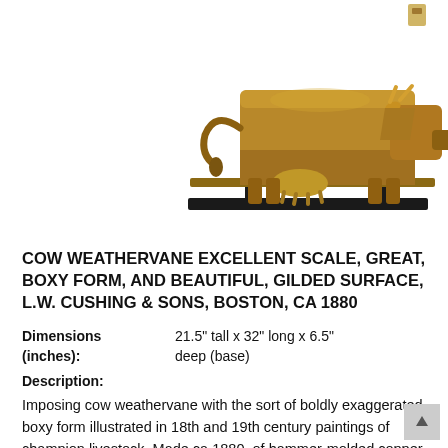[Figure (photo): A gilded copper cow weathervane on a black display stand/base. The cow has a boxy, exaggerated form typical of 19th century American folk art weathervanes, with cast horns. Made by L.W. Cushing & Sons, Boston, ca 1880.]
COW WEATHERVANE EXCELLENT SCALE, GREAT, BOXY FORM, AND BEAUTIFUL, GILDED SURFACE, L.W. CUSHING & SONS, BOSTON, CA 1880
| Dimensions (inches): | 21.5" tall x 32" long x 6.5" deep (base) |
Description: Imposing cow weathervane with the sort of boldly exaggerated, boxy form illustrated in 18th and 19th century paintings of champion livestock. Made ca 1880, of hammer-molded copper with cast horns and